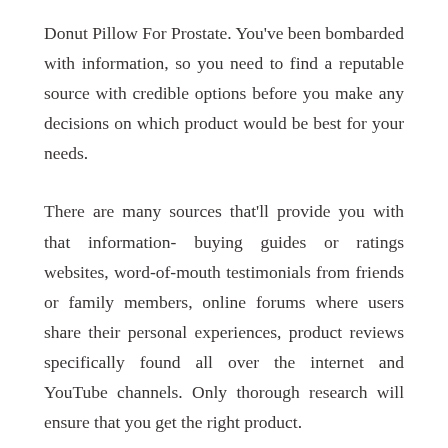Donut Pillow For Prostate. You've been bombarded with information, so you need to find a reputable source with credible options before you make any decisions on which product would be best for your needs.
There are many sources that'll provide you with that information- buying guides or ratings websites, word-of-mouth testimonials from friends or family members, online forums where users share their personal experiences, product reviews specifically found all over the internet and YouTube channels. Only thorough research will ensure that you get the right product.